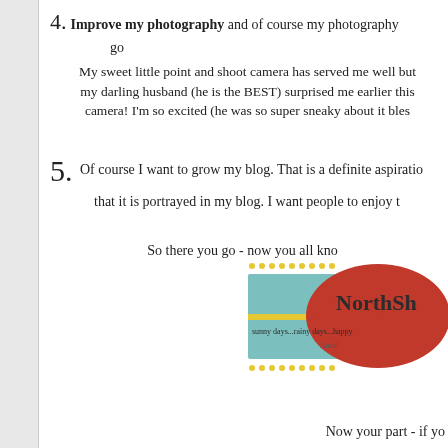4. Improve my photography and of course my photography go...
My sweet little point and shoot camera has served me well but my darling husband (he is the BEST) surprised me earlier this camera! I'm so excited (he was so super sneaky about it bles...
5. Of course I want to grow my blog. That is a definite aspiratio... that it is portrayed in my blog. I want people to enjoy t...
So there you go - now you all kno...
[Figure (logo): NorthSh... blog logo with teal rectangle, red blob shape, yellow dots, text: sunny days...rainy days...happy..., Auckl...]
Now your part - if yo...